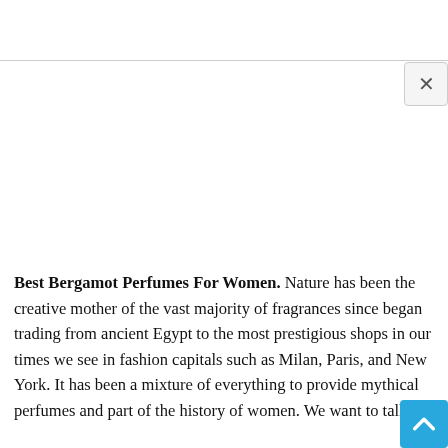[Figure (screenshot): Screenshot of a webpage showing top navigation bar area with a horizontal divider line. A close (X) button is visible at top right of an overlay/modal area.]
Best Bergamot Perfumes For Women. Nature has been the creative mother of the vast majority of fragrances since began trading from ancient Egypt to the most prestigious shops in our times we see in fashion capitals such as Milan, Paris, and New York. It has been a mixture of everything to provide mythical perfumes and part of the history of women. We want to talk